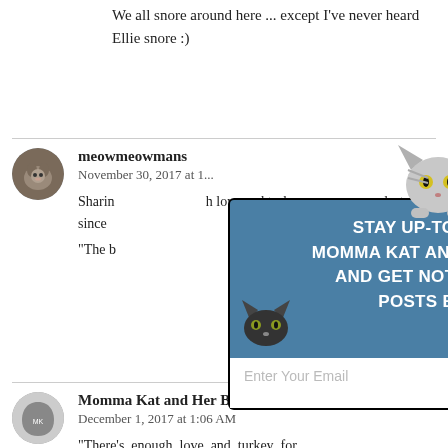We all snore around here ... except I've never heard Ellie snore :)
meowmeowmans
November 30, 2017 at 1...
Sharing ... h love and turkey ... last part, since ...
"The b...
[Figure (screenshot): Popup overlay: STAY UP-TO-DATE WITH MOMMA KAT AND HER BEAR CAT AND GET NOTIFIED OF NEW POSTS BY EMAIL! with email input and Subscribe button, cat illustrations, X close button]
nly
Momma Kat and Her Bear Cat
December 1, 2017 at 1:06 AM
"There's enough love and turkey for